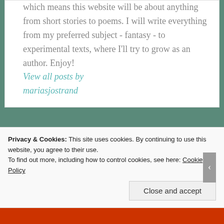which means this website will be about anything from short stories to poems. I will write everything from my preferred subject - fantasy - to experimental texts, where I'll try to grow as an author. Enjoy!
View all posts by mariasjostrand
Privacy & Cookies: This site uses cookies. By continuing to use this website, you agree to their use. To find out more, including how to control cookies, see here: Cookie Policy
Close and accept